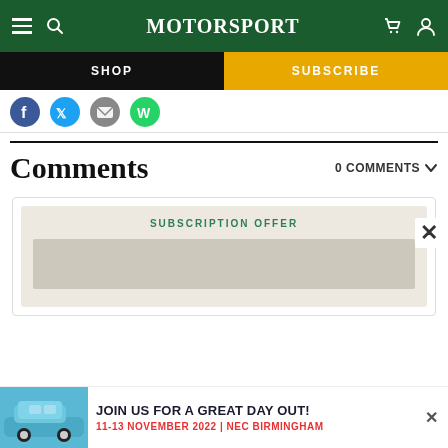Motor Sport — navigation bar with hamburger menu, search, logo, cart, user icons
[Figure (screenshot): Shop and Subscribe navigation buttons bar]
[Figure (screenshot): Social sharing icons row (Facebook, Twitter, Email, WhatsApp)]
Comments
0 COMMENTS
[Figure (infographic): Subscription Offer card with beige background and green SUBSCRIPTION OFFER label]
[Figure (screenshot): Bottom advertisement banner: JOIN US FOR A GREAT DAY OUT! 11-13 NOVEMBER 2022 | NEC BIRMINGHAM with blue Porsche 911 car image]